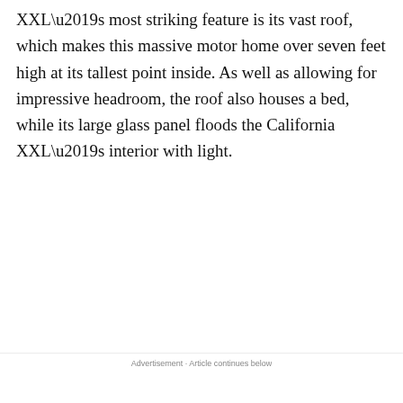XXL’s most striking feature is its vast roof, which makes this massive motor home over seven feet high at its tallest point inside. As well as allowing for impressive headroom, the roof also houses a bed, while its large glass panel floods the California XXL’s interior with light.
Advertisement · Article continues below
Advertisement
[Figure (other): Advertisement banner for Virginia Tire and Auto of Ashburn showing Firestone Tires deal with logo and arrow icon]